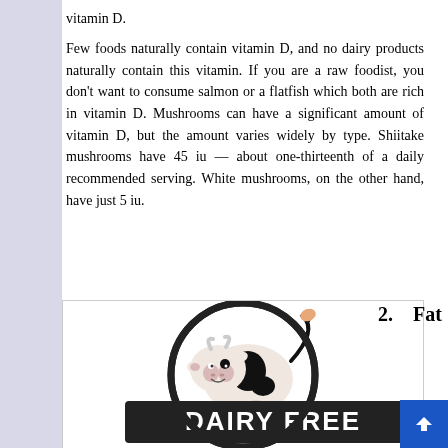vitamin D.
Few foods naturally contain vitamin D, and no dairy products naturally contain this vitamin. If you are a raw foodist, you don't want to consume salmon or a flatfish which both are rich in vitamin D. Mushrooms can have a significant amount of vitamin D, but the amount varies widely by type. Shiitake mushrooms have 45 iu — about one-thirteenth of a daily recommended serving. White mushrooms, on the other hand, have just 5 iu.
[Figure (illustration): A circular 'Dairy Free' badge showing a cartoon cow with black spots and the text 'DAIRY FREE' on a dark banner across the circle.]
2.    Fat